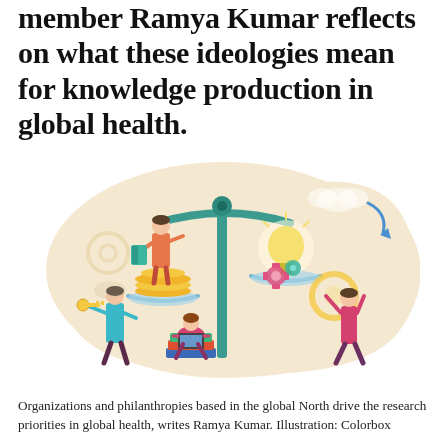member Ramya Kumar reflects on what these ideologies mean for knowledge production in global health.
[Figure (illustration): A balance scale illustration showing on the left pan: a person standing on stacked gold coins holding a book, and on the right pan: a large glowing lightbulb with colorful gears. Below the scale on the left side is a person holding a key and a seated woman with a laptop on books. On the right side is a woman raising her arms holding a gear. The background is a warm beige cloud/blob shape. Style is flat vector illustration.]
Organizations and philanthropies based in the global North drive the research priorities in global health, writes Ramya Kumar. Illustration: Colorbox